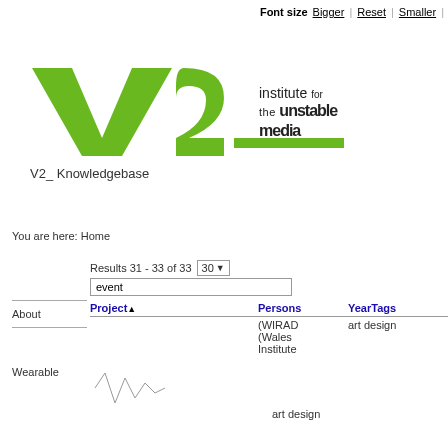Font size  Bigger | Reset | Smaller |
[Figure (logo): V2_ Institute for the Unstable Media logo with green stylized V2 text and 'institute for the unstable media' typographic treatment]
V2_ Knowledgebase
You are here: Home
Results 31 - 33 of 33  30
event
| Project | Persons | YearTags |
| --- | --- | --- |
|  | (WIRAD (Wales Institute | art design |
About
Wearable